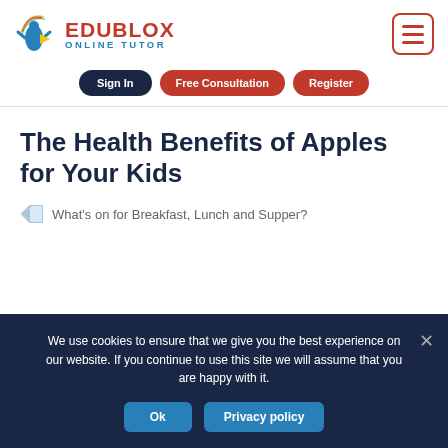[Figure (logo): Edublox Online Tutor logo with colorful figure and text]
[Figure (other): Hamburger menu button with red border]
Sign In
Free Consultation
Register
The Health Benefits of Apples for Your Kids
What's on for Breakfast, Lunch and Supper?
We use cookies to ensure that we give you the best experience on our website. If you continue to use this site we will assume that you are happy with it.
Ok
Privacy policy